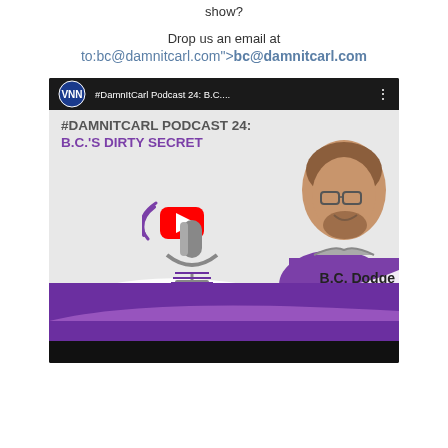show?
Drop us an email at
to:bc@damnitcarl.com">bc@damnitcarl.com
[Figure (screenshot): YouTube video thumbnail for #DamnItCarl Podcast 24: B.C.'s Dirty Secret featuring B.C. Dodge, with YouTube play button overlay and purple branding with microphone graphic.]